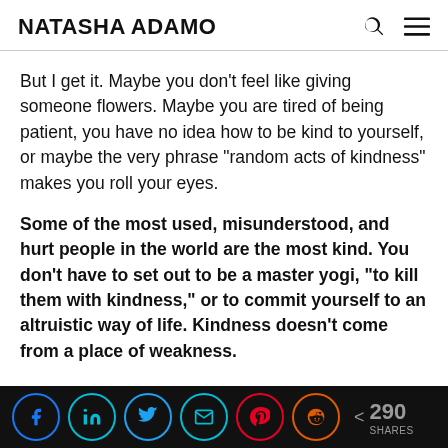NATASHA ADAMO
But I get it. Maybe you don’t feel like giving someone flowers. Maybe you are tired of being patient, you have no idea how to be kind to yourself, or maybe the very phrase “random acts of kindness” makes you roll your eyes.
Some of the most used, misunderstood, and hurt people in the world are the most kind. You don’t have to set out to be a master yogi, “to kill them with kindness,” or to commit yourself to an altruistic way of life. Kindness doesn’t come from a place of weakness.